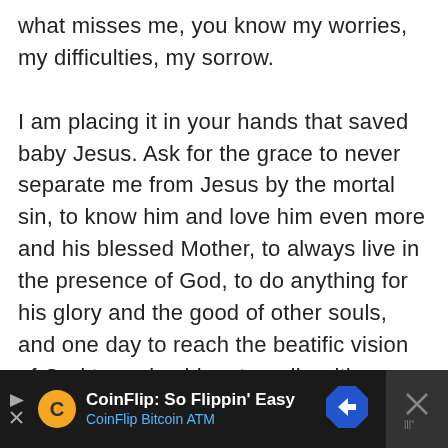what misses me, you know my worries, my difficulties, my sorrow.

I am placing it in your hands that saved baby Jesus. Ask for the grace to never separate me from Jesus by the mortal sin, to know him and love him even more and his blessed Mother, to always live in the presence of God, to do anything for his glory and the good of other souls, and one day to reach the beatific vision of God to praise him eternally with you. Amen.

Here is one example of a prayer to Saint
[Figure (other): Advertisement banner for CoinFlip Bitcoin ATM with dark background, CoinFlip logo, text 'CoinFlip: So Flippin' Easy' and 'CoinFlip Bitcoin ATM', blue arrow navigation icon, and close button with X.]